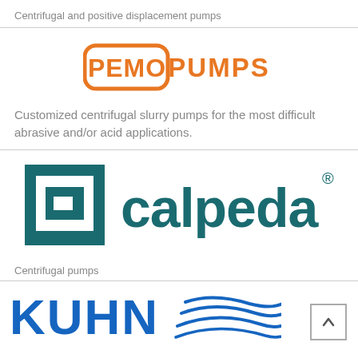Centrifugal and positive displacement pumps
[Figure (logo): PEMO PUMPS logo in orange with rounded rectangle around PEMO text]
Customized centrifugal slurry pumps for the most difficult abrasive and/or acid applications.
[Figure (logo): Calpeda logo with teal square bracket graphic and calpeda text in teal]
Centrifugal pumps
[Figure (logo): KUHN logo in blue with flowing water lines graphic]